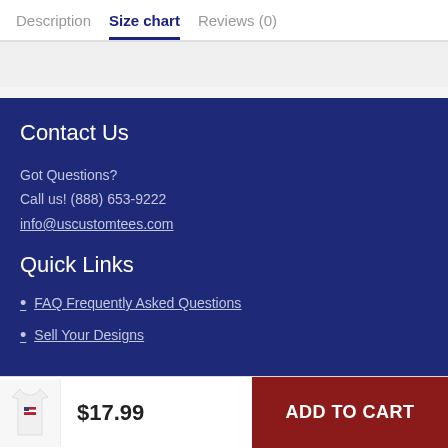Description  Size chart  Reviews (0)
Contact Us
Got Questions?
Call us! (888) 653-9222
info@uscustomtees.com
Quick Links
FAQ Frequently Asked Questions
Sell Your Designs
$17.99
ADD TO CART